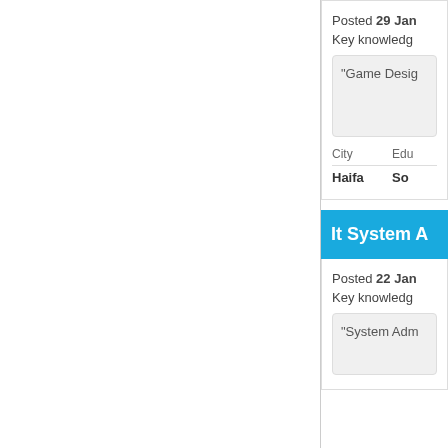Posted 29 Jan
Key knowledge
"Game Desig...
| City | Edu |
| --- | --- |
| Haifa | Som |
It System A...
Posted 22 Jan
Key knowledge
"System Adm...